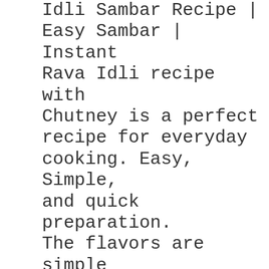Idli Sambar Recipe | Easy Sambar | Instant Rava Idli recipe with Chutney is a perfect recipe for everyday cooking. Easy, Simple, and quick preparation. The flavors are simple but delicious. Authentic South Indian flavors in no time. You will learn how to make Instant Rava Idli, Sambar, and Coconut chutney recipes. Also, learn how...